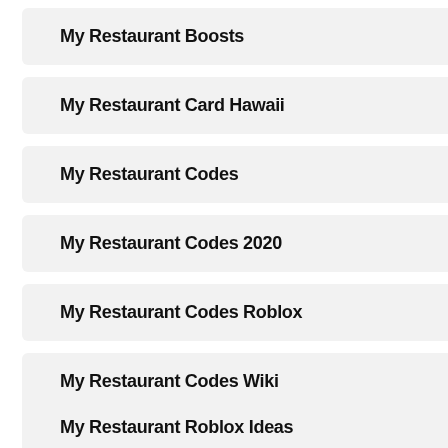My Restaurant Boosts
My Restaurant Card Hawaii
My Restaurant Codes
My Restaurant Codes 2020
My Restaurant Codes Roblox
My Restaurant Codes Wiki
My Restaurant Roblox Codes
My Restaurant Roblox Ideas